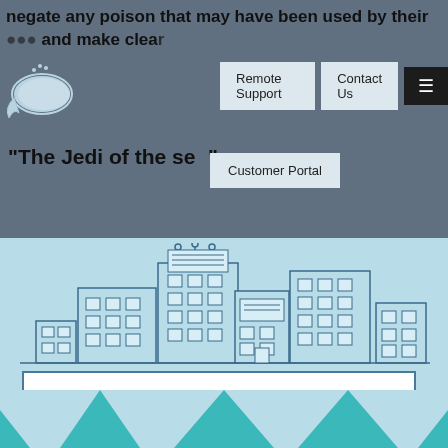negate any poison that may have been used by their and make clea at
Remote Support | Contact Us | Customer Portal
"The Jedi of the se"
[Figure (illustration): Outline illustration of a city skyline with multiple buildings on a light blue background]
Sign Up for the ClientTech Newsletter
[Figure (illustration): Teal/turquoise tent or peak shapes at the bottom of the page]